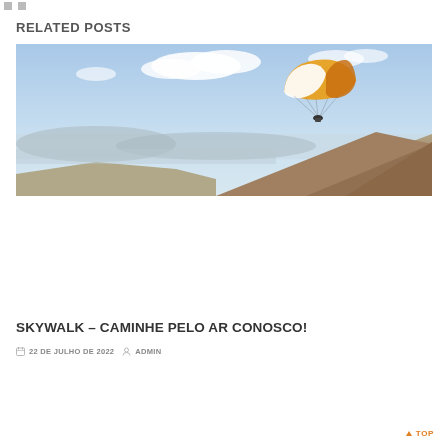RELATED POSTS
[Figure (photo): A paraglider with an orange and white canopy soaring above a hilly, arid landscape with a coastal city visible in the background under a partly cloudy sky.]
SKYWALK – CAMINHE PELO AR CONOSCO!
22 DE JULHO DE 2022   ADMIN
↑ TOP